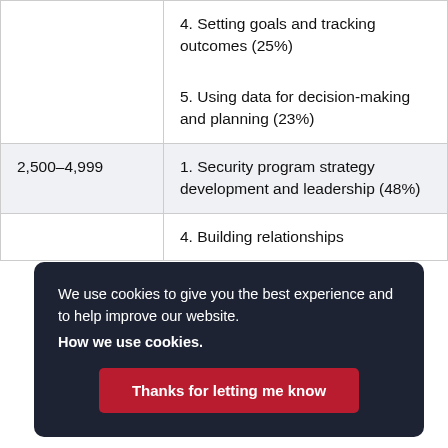4. Setting goals and tracking outcomes (25%)
5. Using data for decision-making and planning (23%)
2,500–4,999 | 1. Security program strategy development and leadership (48%)
We use cookies to give you the best experience and to help improve our website. How we use cookies.
4. Building relationships